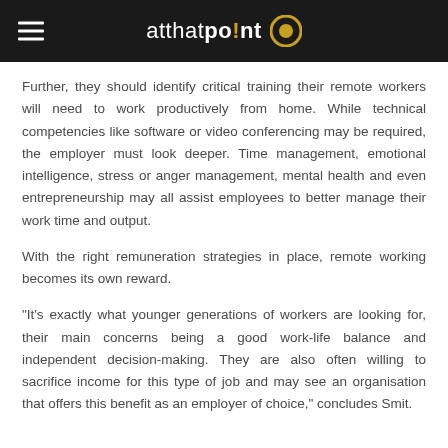atthatpo!nt
Further, they should identify critical training their remote workers will need to work productively from home. While technical competencies like software or video conferencing may be required, the employer must look deeper. Time management, emotional intelligence, stress or anger management, mental health and even entrepreneurship may all assist employees to better manage their work time and output.
With the right remuneration strategies in place, remote working becomes its own reward.
"It's exactly what younger generations of workers are looking for, their main concerns being a good work-life balance and independent decision-making. They are also often willing to sacrifice income for this type of job and may see an organisation that offers this benefit as an employer of choice," concludes Smit.